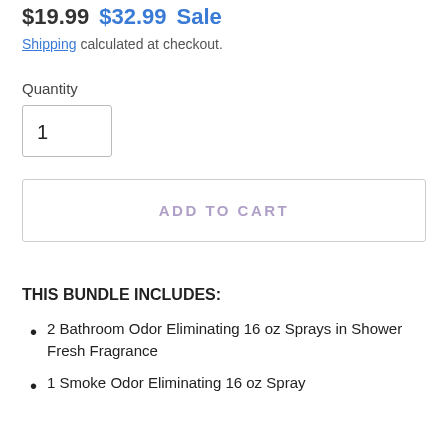$19.99 $32.99 Sale
Shipping calculated at checkout.
Quantity
1
ADD TO CART
THIS BUNDLE INCLUDES:
2 Bathroom Odor Eliminating 16 oz Sprays in Shower Fresh Fragrance
1 Smoke Odor Eliminating 16 oz Spray